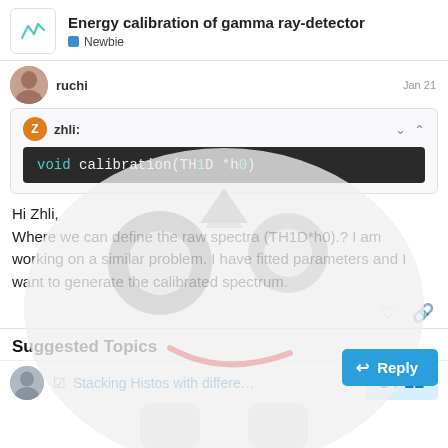Energy calibration of gamma ray-detector — Newbie
ruchi   Jan 21
zhli:
Hi Zhli,
Where we can define the raw spectra (TH1D*h0).? I am working on a similar problem. I have fitted parameters and I want to generate the calibrated spectrum.
Suggested Topics
☑ Stacking Histos with differe…
8 / 11